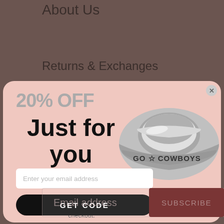About Us
Returns & Exchanges
[Figure (screenshot): E-commerce popup modal with 20% OFF discount offer, showing a silver ring engraved with GO COWBOYS, email input field, and GET CODE button on a pink background]
Email address
SUBSCRIBE